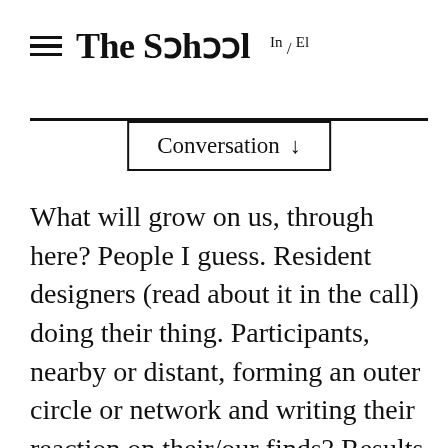The School In / El
Conversation ↓
What will grow on us, through here? People I guess. Resident designers (read about it in the call) doing their thing. Participants, nearby or distant, forming an outer circle or network and writing their reaction on their/our finds? Results of that growth? All too